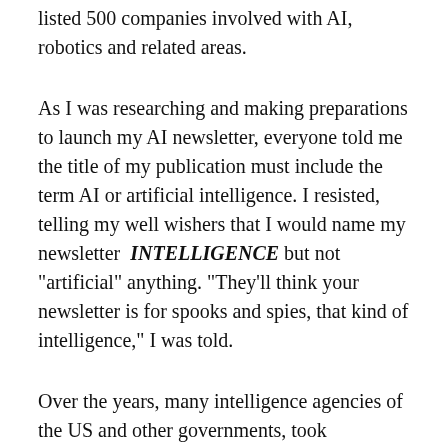listed 500 companies involved with AI, robotics and related areas.
As I was researching and making preparations to launch my AI newsletter, everyone told me the title of my publication must include the term AI or artificial intelligence. I resisted, telling my well wishers that I would name my newsletter INTELLIGENCE but not "artificial" anything. "They'll think your newsletter is for spooks and spies, that kind of intelligence," I was told.
Over the years, many intelligence agencies of the US and other governments, took subscriptions to INTELLIGENCE. These included the FBI (Federal Bureau of Investigation), the CIA (Central Intelligence Agency),